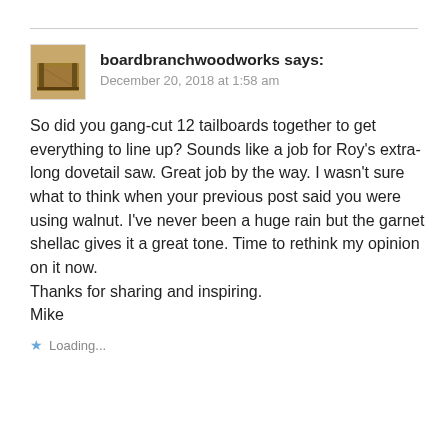[Figure (photo): Avatar thumbnail showing a wooden workbench or furniture piece]
boardbranchwoodworks says:
December 20, 2018 at 1:58 am
So did you gang-cut 12 tailboards together to get everything to line up? Sounds like a job for Roy's extra-long dovetail saw. Great job by the way. I wasn't sure what to think when your previous post said you were using walnut. I've never been a huge rain but the garnet shellac gives it a great tone. Time to rethink my opinion on it now.
Thanks for sharing and inspiring.
Mike
Loading...